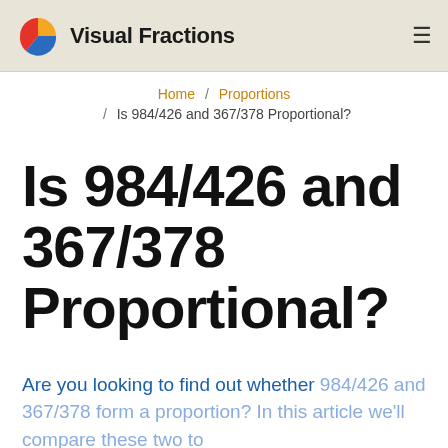Visual Fractions
Home / Proportions / Is 984/426 and 367/378 Proportional?
Is 984/426 and 367/378 Proportional?
Are you looking to find out whether 984/426 and 367/378 form a proportion? In this article we'll compare these two to